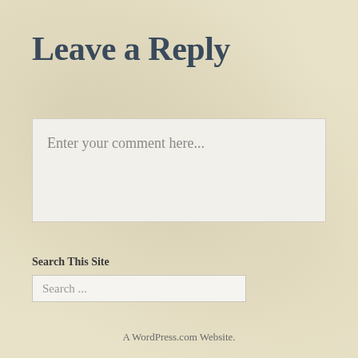Leave a Reply
Enter your comment here...
Search This Site
Search ...
A WordPress.com Website.